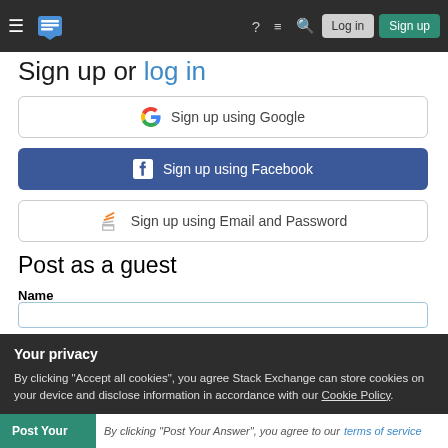Stack Exchange navigation bar with hamburger menu, logo, help, chat, search icons, Log in and Sign up buttons
Sign up or log in
Sign up using Google
Sign up using Facebook
Sign up using Email and Password
Post as a guest
Name
Your privacy
By clicking "Accept all cookies", you agree Stack Exchange can store cookies on your device and disclose information in accordance with our Cookie Policy.
Accept all cookies
Customize settings
Post Your | By clicking "Post Your Answer", you agree to our terms of service